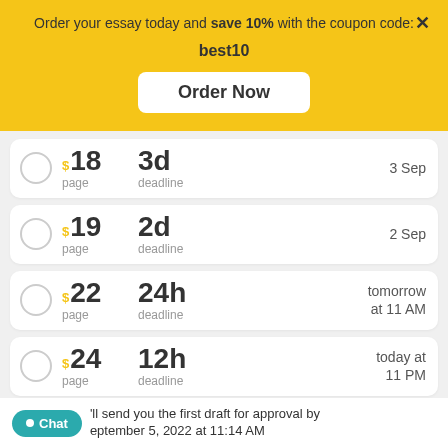Order your essay today and save 10% with the coupon code: best10
Order Now
$18 / page | 3d deadline | 3 Sep
$19 / page | 2d deadline | 2 Sep
$22 / page | 24h deadline | tomorrow at 11 AM
$24 / page | 12h deadline | today at 11 PM
We'll send you the first draft for approval by September 5, 2022 at 11:14 AM